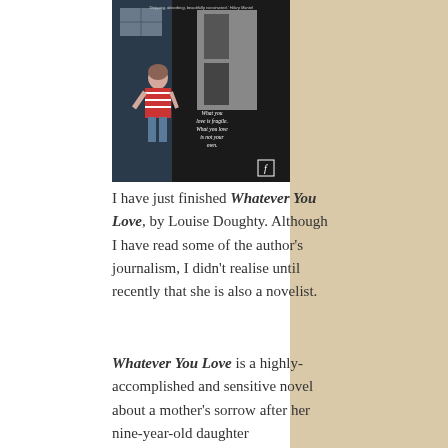[Figure (photo): Book cover of 'Whatever You Love' by Louise Doughty, showing a young girl in a red and white striped shirt standing in front of a dark door. Text on cover reads 'What you love is fragile. What you love is not your own.' with a quote at top 'Gripping, absorbing, beautifully constructed.' - Hilary Mantel]
I have just finished Whatever You Love, by Louise Doughty.  Although I have read some of the author's journalism, I didn't realise until recently that she is also a novelist.
Whatever You Love is a highly-accomplished and sensitive novel about a mother's sorrow after her nine-year-old daughter